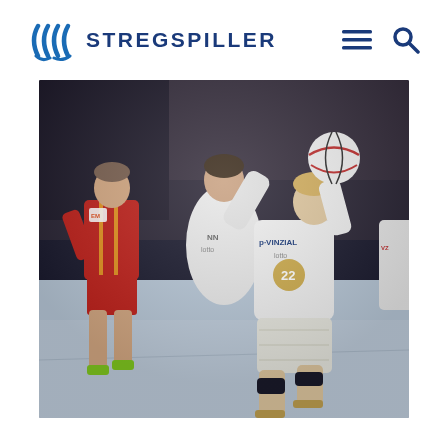STREGSPILLER
[Figure (photo): Handball match action photo showing players in white jerseys (number 22, P VINZIAL/Lotto branding) competing against a player in red, mid-game action with ball in the air, indoor arena setting]